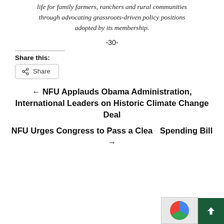life for family farmers, ranchers and rural communities through advocating grassroots-driven policy positions adopted by its membership.
-30-
Share this:
Share
← NFU Applauds Obama Administration, International Leaders on Historic Climate Change Deal
NFU Urges Congress to Pass a Clean Spending Bill →